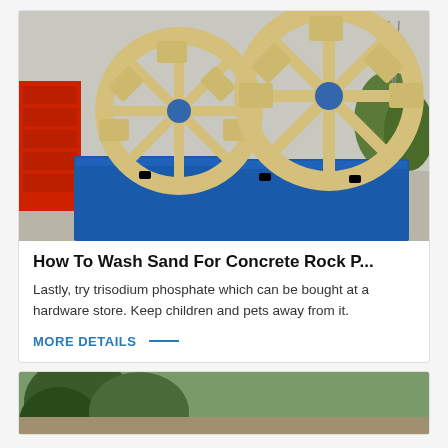[Figure (photo): Industrial sand washing machines with large cream/beige paddle wheels mounted on blue metal rectangular tanks, parked outdoors on a concrete surface. Red metal structures visible on the left, green shrubs and a power line tower in the background.]
How To Wash Sand For Concrete Rock P...
Lastly, try trisodium phosphate which can be bought at a hardware store. Keep children and pets away from it.
MORE DETAILS
[Figure (photo): Partial view of a second article card showing the top of a photo with trees visible.]